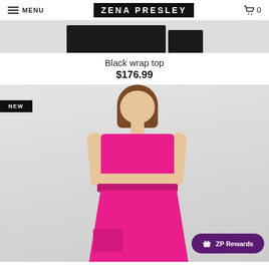MENU | ZENA PRESLEY | 0
[Figure (photo): Top portion of black wrap top garment on grey background]
Black wrap top
$176.99
[Figure (photo): Model wearing pink crop top and pink wide-leg skirt set. NEW badge in top left. ZP Rewards button in bottom right.]